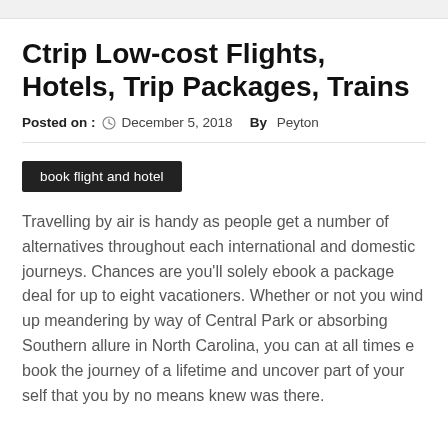Ctrip Low-cost Flights, Hotels, Trip Packages, Trains
Posted on :  December 5, 2018   By Peyton
book flight and hotel
Travelling by air is handy as people get a number of alternatives throughout each international and domestic journeys. Chances are you'll solely ebook a package deal for up to eight vacationers. Whether or not you wind up meandering by way of Central Park or absorbing Southern allure in North Carolina, you can at all times e book the journey of a lifetime and uncover part of your self that you by no means knew was there.